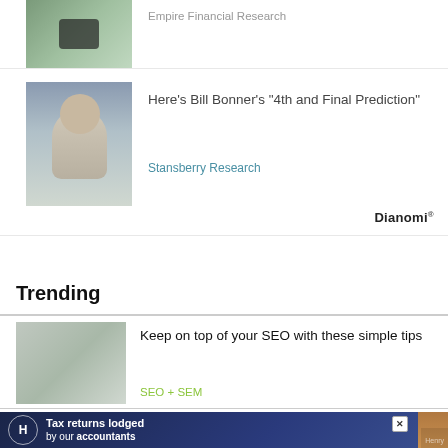[Figure (photo): Photo of a person (Bill Bonner) in a blue shirt with a yellow background]
Here's Bill Bonner's “4th and Final Prediction”
Stansberry Research
[Figure (logo): Dianomi logo]
Trending
Keep on top of your SEO with these simple tips
SEO + SEM
[Figure (photo): Advertisement banner: Tax returns lodged by our accountants - Henry accountants ad with woman in blue dress]